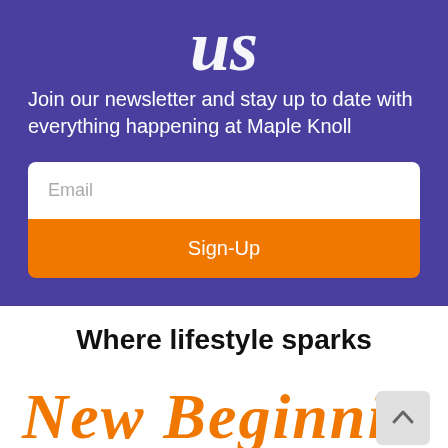[Figure (illustration): Handwritten cursive text 'us' in white on purple background, partially visible at top]
Join our newsletter and stay up to date with everything happening at Maple Knoll
[Figure (screenshot): Email input field with placeholder text 'Email' on white background]
[Figure (screenshot): Orange Sign-Up button]
Where lifestyle sparks
New Beginnings!